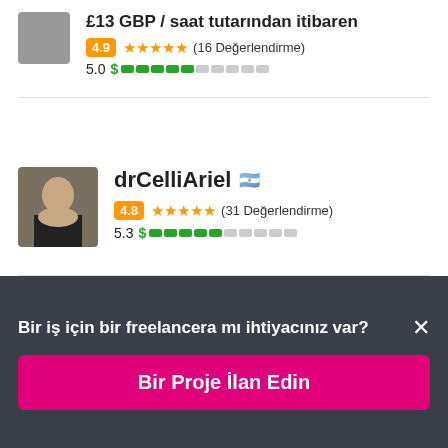£13 GBP / saat tutarından itibaren
4.9 ★★★★★ (16 Değerlendirme)
5.0 $ ▬▬▬▬▬░░░░░
[Figure (photo): Profile photo of drCelliAriel, a man in a dark suit]
drCelliAriel 🇦🇷
4.8 ★★★★★ (31 Değerlendirme)
5.3 $ ▬▬▬▬▬░░░░░
Bir iş için bir freelancera mı ihtiyacınız var? ×
Bir Proje İlan Edin